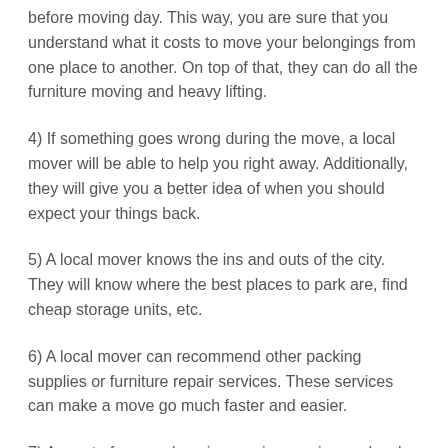before moving day. This way, you are sure that you understand what it costs to move your belongings from one place to another. On top of that, they can do all the furniture moving and heavy lifting.
4) If something goes wrong during the move, a local mover will be able to help you right away. Additionally, they will give you a better idea of when you should expect your things back.
5) A local mover knows the ins and outs of the city. They will know where the best places to park are, find cheap storage units, etc.
6) A local mover can recommend other packing supplies or furniture repair services. These services can make a move go much faster and easier.
7) As part of comprehensive moving services, a local mover usually provides insurance coverage on their trucks.